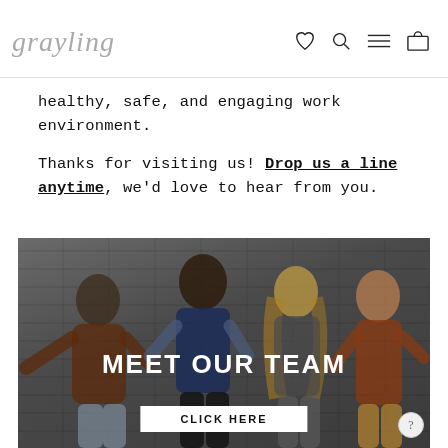grayling [logo with nav icons: heart, search, menu, cart]
healthy, safe, and engaging work environment.
Thanks for visiting us! Drop us a line anytime, we'd love to hear from you.
[Figure (photo): Photo of four women smiling in front of a dark brick wall, with overlaid text 'MEET OUR TEAM' and a white button reading 'CLICK HERE']